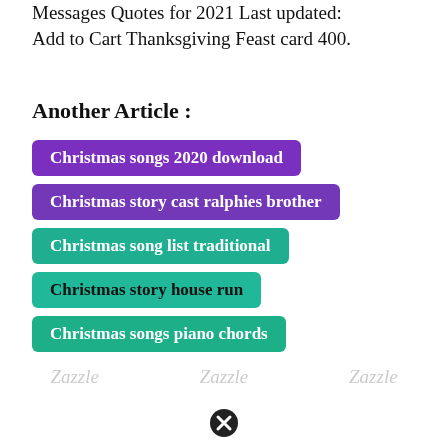Messages Quotes for 2021 Last updated: Add to Cart Thanksgiving Feast card 400.
Another Article :
Christmas songs 2020 download
Christmas story cast ralphies brother
Christmas song list traditional
Christmas story house run
Christmas songs piano chords
Zazzle   Zazzle   Zazzle